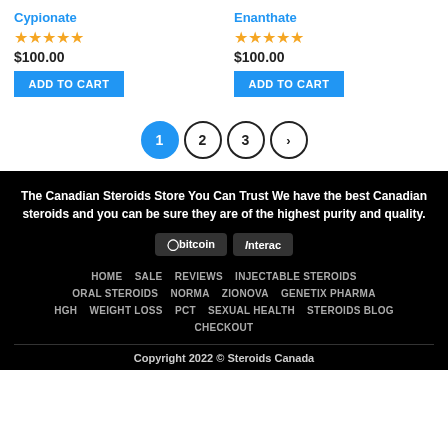Cypionate
Enanthate
★★★★★ $100.00
★★★★★ $100.00
ADD TO CART
ADD TO CART
1 2 3 >
The Canadian Steroids Store You Can Trust We have the best Canadian steroids and you can be sure they are of the highest purity and quality.
[Figure (logo): Bitcoin and Interac payment icons]
HOME  SALE  REVIEWS  INJECTABLE STEROIDS  ORAL STEROIDS  NORMA  ZIONOVA  GENETIX PHARMA  HGH  WEIGHT LOSS  PCT  SEXUAL HEALTH  STEROIDS BLOG  CHECKOUT  Copyright 2022 © Steroids Canada